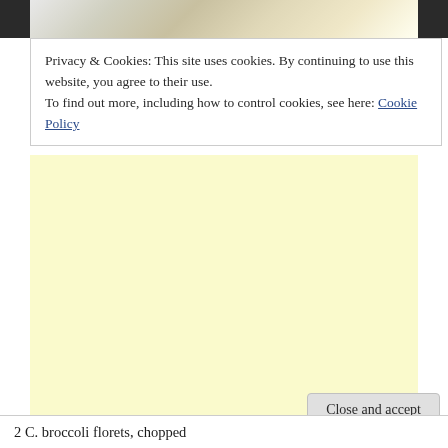[Figure (photo): Partial food photograph at the top of the page, showing a creamy dish with garnish on a dark background]
Privacy & Cookies: This site uses cookies. By continuing to use this website, you agree to their use.
To find out more, including how to control cookies, see here: Cookie Policy
[Figure (other): Light yellow advertisement banner placeholder]
Close and accept
2 C. broccoli florets, chopped